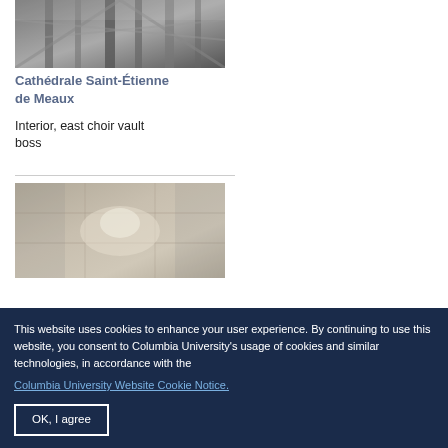[Figure (photo): Interior view of cathedral vault ribs, looking up at stone columns and ribbed vaulting]
Cathédrale Saint-Étienne de Meaux
Interior, east choir vault boss
[Figure (photo): Interior stone wall of cathedral showing weathered and stained stone surface]
This website uses cookies to enhance your user experience. By continuing to use this website, you consent to Columbia University's usage of cookies and similar technologies, in accordance with the Columbia University Website Cookie Notice.
OK, I agree